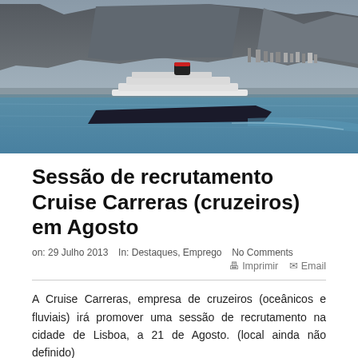[Figure (photo): Aerial view of a large cruise ship sailing in a bay with a mountain range (Table Mountain, Cape Town) in the background under overcast skies.]
Sessão de recrutamento Cruise Carreras (cruzeiros) em Agosto
on: 29 Julho 2013   In: Destaques, Emprego   No Comments   🖨 Imprimir   ✉ Email
A Cruise Carreras, empresa de cruzeiros (oceânicos e fluviais) irá promover uma sessão de recrutamento na cidade de Lisboa, a 21 de Agosto. (local ainda não definido)
Descrição da oferta: